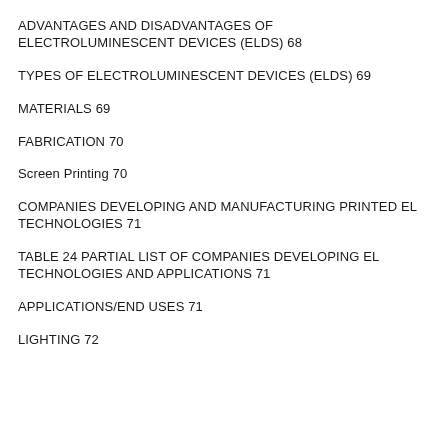ADVANTAGES AND DISADVANTAGES OF ELECTROLUMINESCENT DEVICES (ELDS) 68
TYPES OF ELECTROLUMINESCENT DEVICES (ELDS) 69
MATERIALS 69
FABRICATION 70
Screen Printing 70
COMPANIES DEVELOPING AND MANUFACTURING PRINTED EL TECHNOLOGIES 71
TABLE 24 PARTIAL LIST OF COMPANIES DEVELOPING EL TECHNOLOGIES AND APPLICATIONS 71
APPLICATIONS/END USES 71
LIGHTING 72